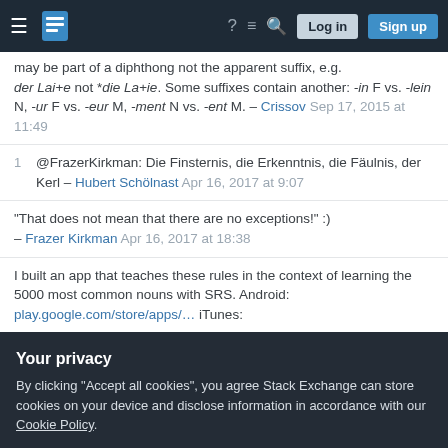Stack Exchange navigation bar with hamburger menu, logo, help, chat, search, Log in, Sign up buttons
may be part of a diphthong not the apparent suffix, e.g. der Lai+e not *die La+ie. Some suffixes contain another: -in F vs. -lein N, -ur F vs. -eur M, -ment N vs. -ent M. – Crissov Sep 17, 2015 at 11:49
1  @FrazerKirkman: Die Finsternis, die Erkenntnis, die Fäulnis, der Kerl – Hubert Schölnast Apr 16, 2017 at 9:07
"That does not mean that there are no exceptions!" :) – Frazer Kirkman Apr 16, 2017 at 18:38
I built an app that teaches these rules in the context of learning the 5000 most common nouns with SRS. Android: play.google.com/store/apps/… iTunes:
Your privacy
By clicking "Accept all cookies", you agree Stack Exchange can store cookies on your device and disclose information in accordance with our Cookie Policy.
is no clean method to guess your way though, and